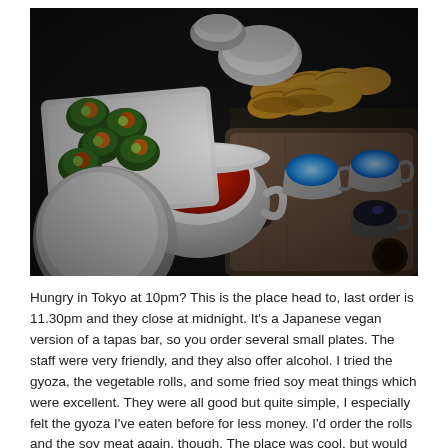[Figure (photo): A dark-toned restaurant table photograph showing Japanese vegan food: spring rolls/vegetable rolls on a white rectangular plate on the left, dumplings/gyoza on a wooden board on the upper right, and several small white bowls/cups including one with bright red chili sauce, and small dipping sauce cups with blue LED lighting underneath. The image is partly desaturated with selective color highlighting the red sauce and blue light.]
Hungry in Tokyo at 10pm? This is the place head to, last order is 11.30pm and they close at midnight. It's a Japanese vegan version of a tapas bar, so you order several small plates. The staff were very friendly, and they also offer alcohol. I tried the gyoza, the vegetable rolls, and some fried soy meat things which were excellent. They were all good but quite simple, I especially felt the gyoza I've eaten before for less money. I'd order the rolls and the soy meat again, though. The place was cool, but would have felt cooler with more people: it was dead when I went. Maybe I'm just hard to please, or maybe I should